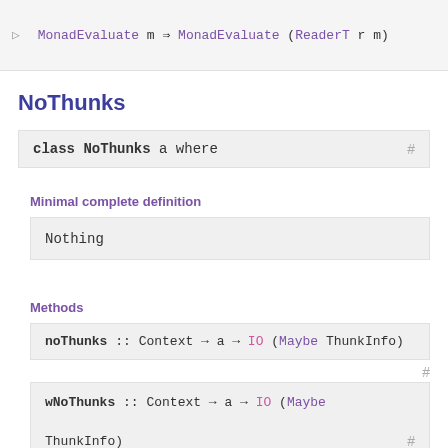NoThunks
Minimal complete definition
Methods